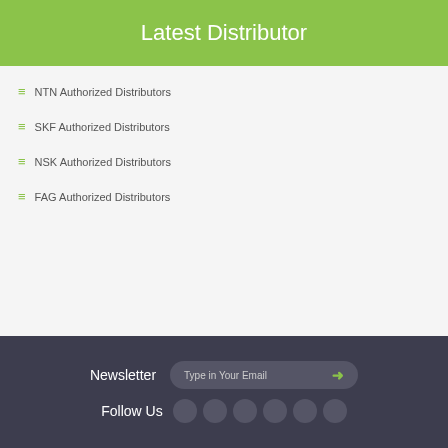Latest Distributor
NTN Authorized Distributors
SKF Authorized Distributors
NSK Authorized Distributors
FAG Authorized Distributors
Newsletter  Type in Your Email
Follow Us